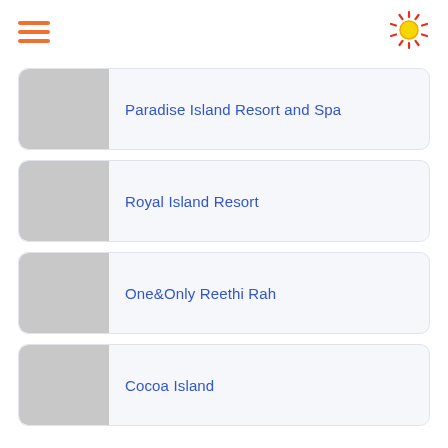Paradise Island Resort and Spa
Royal Island Resort
One&Only Reethi Rah
Cocoa Island